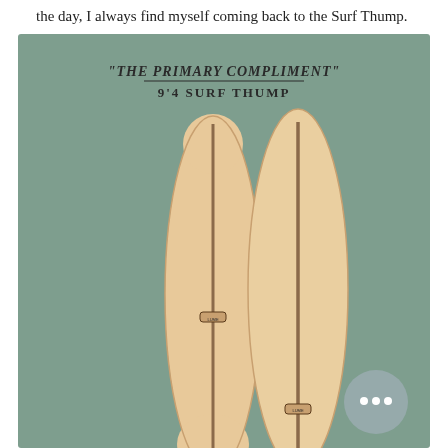the day, I always find myself coming back to the Surf Thump.
[Figure (photo): Product photo of two longboard surfboards (front and back views) labeled 'THE PRIMARY COMPLIMENT' 9'4 SURF THUMP, shown on a muted sage green background. The boards are cream/tan colored with a central wooden stringer stripe.]